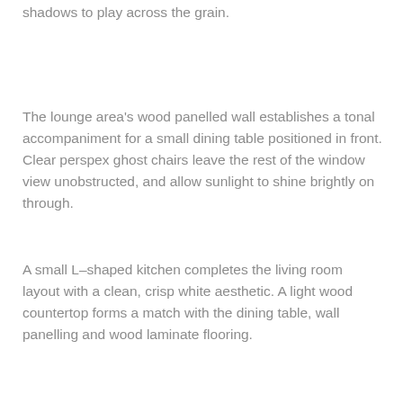shadows to play across the grain.
The lounge area's wood panelled wall establishes a tonal accompaniment for a small dining table positioned in front. Clear perspex ghost chairs leave the rest of the window view unobstructed, and allow sunlight to shine brightly on through.
A small L–shaped kitchen completes the living room layout with a clean, crisp white aesthetic. A light wood countertop forms a match with the dining table, wall panelling and wood laminate flooring.